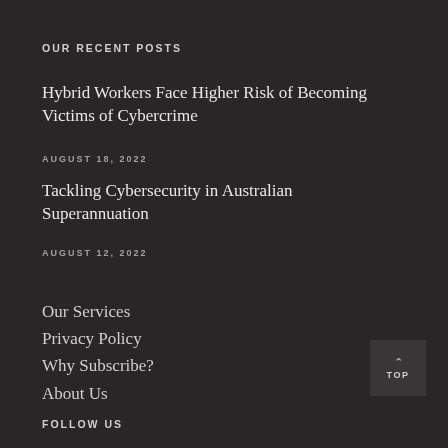OUR RECENT POSTS
Hybrid Workers Face Higher Risk of Becoming Victims of Cybercrime
AUGUST 18, 2022
Tackling Cybersecurity in Australian Superannuation
AUGUST 12, 2022
Our Services
Privacy Policy
Why Subscribe?
About Us
FOLLOW US